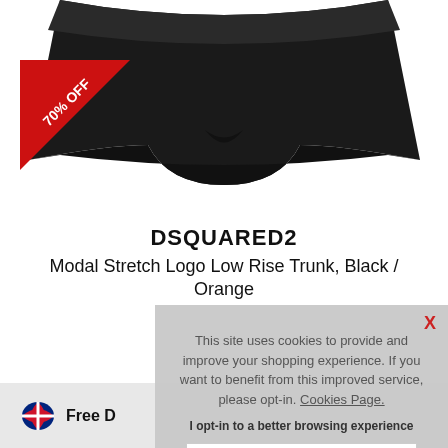[Figure (photo): Black modal stretch underwear trunk product photo on white background with a red 70% OFF diagonal sale badge in the top-left corner]
DSQUARED2
Modal Stretch Logo Low Rise Trunk, Black / Orange
Loading...
Free D[elivery] (truncated by overlay)
This site uses cookies to provide and improve your shopping experience. If you want to benefit from this improved service, please opt-in. Cookies Page.
I opt-in to a better browsing experience
ACCEPT COOKIES